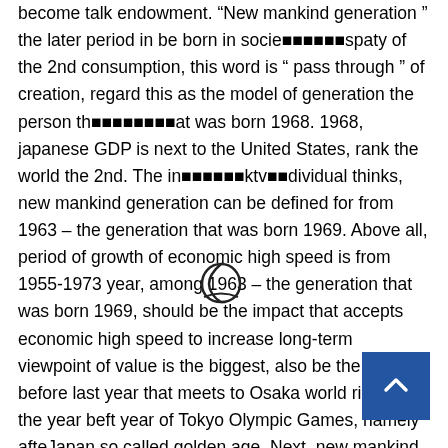become talk endowment. "New mankind generation " the later period in be born in socie■■■■■■spaty of the 2nd consumption, this word is " pass through " of creation, regard this as the model of generation the person th■■■■■■■■at was born 1968. 1968, japanese GDP is next to the United States, rank the world the 2nd. The in■■■■■■ktv■■dividual thinks, new mankind generation can be defined for from 1963 – the generation that was born 1969. Above all, period of growth of economic high speed is from 1955-1973 year, among 1963 – the generation that was born 1969, should be the impact that accepts economic high speed to increase long-term viewpoint of value is the biggest, also be the year before last year that meets to Osaka world rich from the year before year of Tokyo Olympic Games, namely after Japan so called golden age. Next, new mankind
[Figure (logo): A crescent moon logo/watermark in dark color, positioned in the middle of the text]